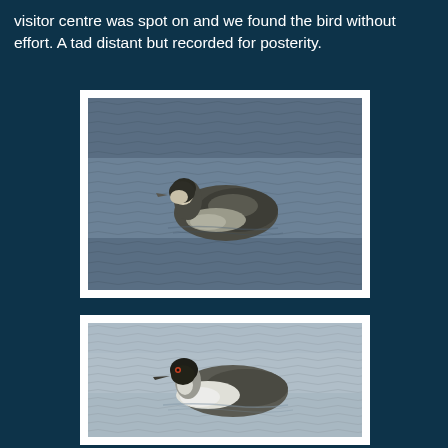visitor centre was spot on and we found the bird without effort. A tad distant but recorded for posterity.
[Figure (photo): A grebe or duck swimming on dark blue-grey rippled water, viewed from the side, with dark cap and pale cheek patches, photographed at a distance.]
[Figure (photo): A grebe or duck swimming on lighter grey rippled water, viewed from the side, with dark cap and white underparts, photographed at closer range.]